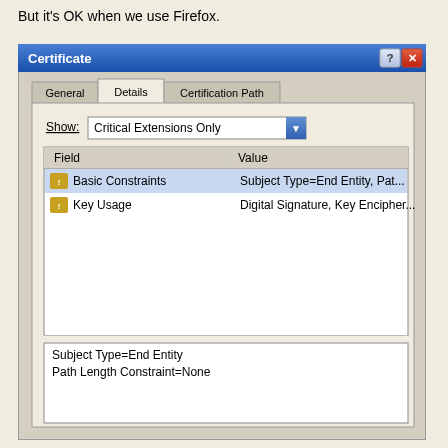But it's OK when we use Firefox.
[Figure (screenshot): Windows XP Certificate dialog box showing the Details tab with 'Critical Extensions Only' selected in the Show dropdown. The field list shows 'Basic Constraints' with value 'Subject Type=End Entity, Pat...' and 'Key Usage' with value 'Digital Signature, Key Encipher...'. The detail text area below shows 'Subject Type=End Entity' and 'Path Length Constraint=None'.]